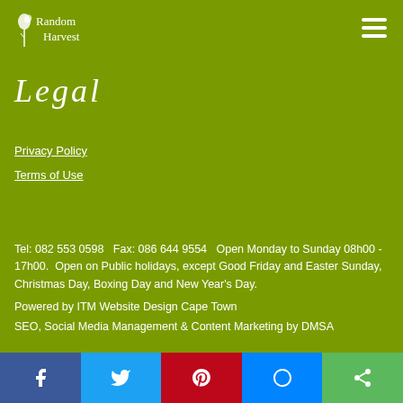[Figure (logo): Random Harvest logo with leaf/plant icon and white text on olive green background]
Legal
Privacy Policy
Terms of Use
Tel: 082 553 0598   Fax: 086 644 9554   Open Monday to Sunday 08h00 - 17h00.  Open on Public holidays, except Good Friday and Easter Sunday, Christmas Day, Boxing Day and New Year's Day.
Powered by ITM Website Design Cape Town
SEO, Social Media Management & Content Marketing by DMSA
[Figure (infographic): Social media sharing bar with Facebook, Twitter, Pinterest, Messenger, and Share buttons]